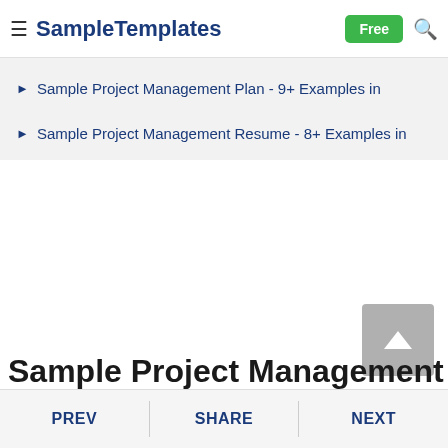SampleTemplates — Free
Sample Project Management Plan - 9+ Examples in
Sample Project Management Resume - 8+ Examples in
Sample Project Management Pl…
PREV  SHARE  NEXT